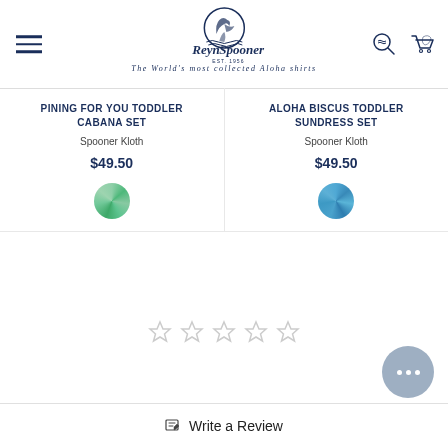[Figure (logo): Reyn Spooner logo with circular emblem showing a heron/bird and palm tree, dark navy blue. Tagline: The World's most collected Aloha shirts]
PINING FOR YOU TODDLER CABANA SET
Spooner Kloth
$49.50
ALOHA BISCUS TODDLER SUNDRESS SET
Spooner Kloth
$49.50
[Figure (other): Five empty star rating icons]
Write a Review